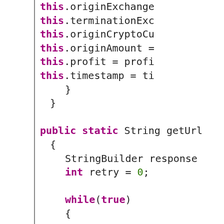[Figure (screenshot): Java source code snippet showing constructor assignments (this.originExchange, this.terminationExc, this.originCryptoCu, this.originAmount, this.profit, this.timestamp) followed by a public static String getUrl method with StringBuilder response, int retry = 0, a while(true) loop with try block containing URL url = new U, HttpURLConnecti, httpUrlConnecti, httpUrlConnecti]